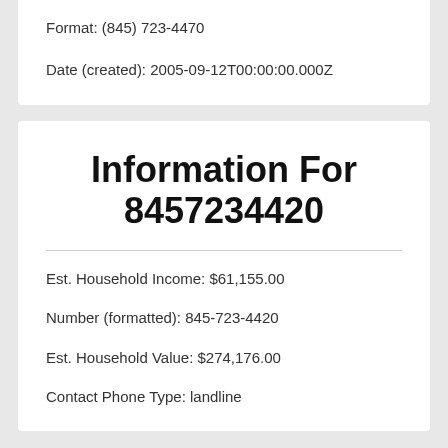Format:  (845) 723-4470
Date (created):  2005-09-12T00:00:00.000Z
Information For 8457234420
Est. Household Income:  $61,155.00
Number (formatted):  845-723-4420
Est. Household Value:  $274,176.00
Contact Phone Type:  landline